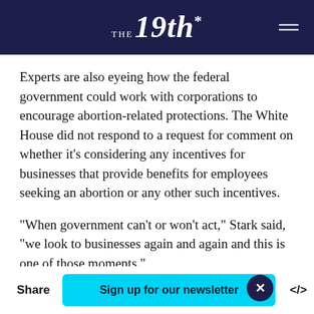THE 19th*
Experts are also eyeing how the federal government could work with corporations to encourage abortion-related protections. The White House did not respond to a request for comment on whether it’s considering any incentives for businesses that provide benefits for employees seeking an abortion or any other such incentives.
“When government can’t or won’t act,” Stark said, “we look to businesses again and again and this is one of those moments.”
Share  Sign up for our newsletter